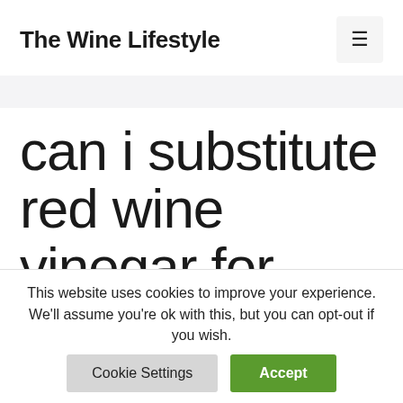The Wine Lifestyle
can i substitute red wine vinegar for white wine vinegar
This website uses cookies to improve your experience. We'll assume you're ok with this, but you can opt-out if you wish.
Cookie Settings  Accept